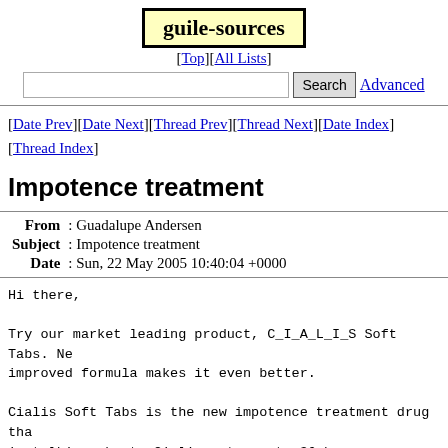guile-sources
[Top][All Lists]
Search  Advanced
[Date Prev][Date Next][Thread Prev][Thread Next][Date Index][Thread Index]
Impotence treatment
| Field | Value |
| --- | --- |
| From | Guadalupe Andersen |
| Subject | Impotence treatment |
| Date | Sun, 22 May 2005 10:40:04 +0000 |
Hi there,

Try our market leading product, C_I_A_L_I_S Soft Tabs. New improved formula makes it even better.

Cialis Soft Tabs is the new impotence treatment drug that everyone is talking about. Cialis acts up to 36 hours, compare this to only two or three hours of Viagra action! The active ingredient is Tadalafil, same as in brand Cialis.